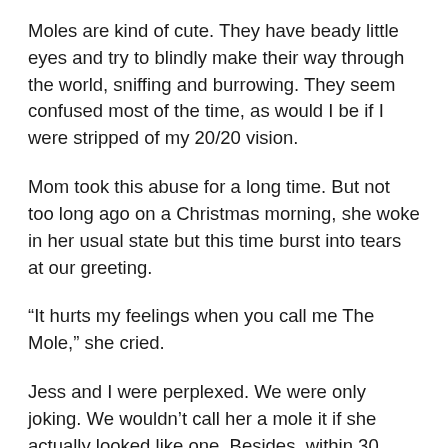Moles are kind of cute. They have beady little eyes and try to blindly make their way through the world, sniffing and burrowing. They seem confused most of the time, as would I be if I were stripped of my 20/20 vision.
Mom took this abuse for a long time. But not too long ago on a Christmas morning, she woke in her usual state but this time burst into tears at our greeting.
“It hurts my feelings when you call me The Mole,” she cried.
Jess and I were perplexed. We were only joking. We wouldn’t call her a mole it if she actually looked like one. Besides, within 30 minutes of being awake, the moleishness cleared and mom blossomed from the bathroom as her usual, stunning self. Hair and clothes in